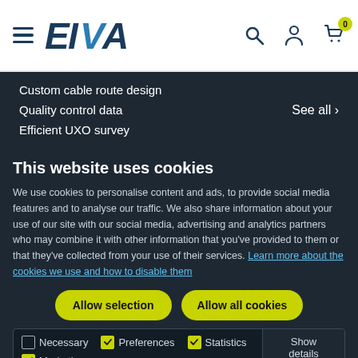[Figure (logo): EIVA logo with hamburger menu icon on the left]
Custom cable route design
Quality control data
Efficient UXO survey
See all ›
This website uses cookies
We use cookies to personalise content and ads, to provide social media features and to analyse our traffic. We also share information about your use of our site with our social media, advertising and analytics partners who may combine it with other information that you've provided to them or that they've collected from your use of their services. Learn more about the cookies we use and how to disable them
Allow selection
Allow all cookies
Necessary  Preferences  Statistics  Marketing  Show details